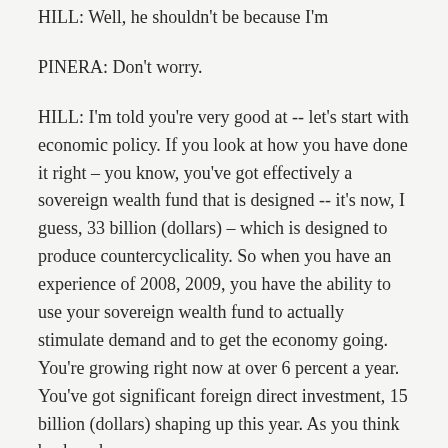HILL: Well, he shouldn't be because I'm
PINERA: Don't worry.
HILL: I'm told you're very good at -- let's start with economic policy. If you look at how you have done it right – you know, you've got effectively a sovereign wealth fund that is designed -- it's now, I guess, 33 billion (dollars) – which is designed to produce countercyclicality. So when you have an experience of 2008, 2009, you have the ability to use your sovereign wealth fund to actually stimulate demand and to get the economy going. You're growing right now at over 6 percent a year. You've got significant foreign direct investment, 15 billion (dollars) shaping up this year. As you think back on how you